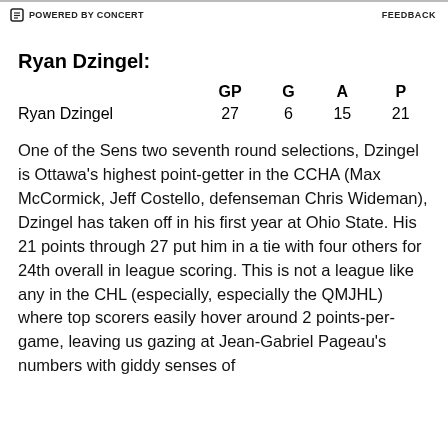POWERED BY CONCERT   FEEDBACK
Ryan Dzingel:
|  | GP | G | A | P |
| --- | --- | --- | --- | --- |
| Ryan Dzingel | 27 | 6 | 15 | 21 |
One of the Sens two seventh round selections, Dzingel is Ottawa's highest point-getter in the CCHA (Max McCormick, Jeff Costello, defenseman Chris Wideman), Dzingel has taken off in his first year at Ohio State. His 21 points through 27 put him in a tie with four others for 24th overall in league scoring. This is not a league like any in the CHL (especially, especially the QMJHL) where top scorers easily hover around 2 points-per-game, leaving us gazing at Jean-Gabriel Pageau's numbers with giddy senses of